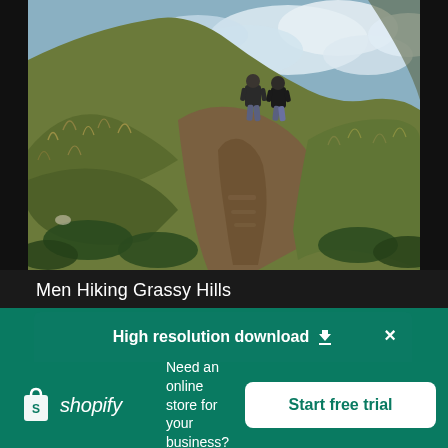[Figure (photo): Two men hiking up a grassy hill trail with cloudy sky background, shot from behind. Dry golden-green grass covers rolling hillsides with a dirt path leading upward.]
Men Hiking Grassy Hills
High resolution download ↓
[Figure (logo): Shopify logo — white shopping bag icon with letter S, followed by italic text 'shopify' in white]
Need an online store for your business?
Start free trial